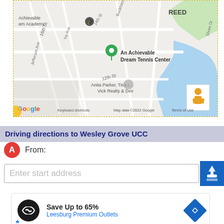[Figure (map): Google Maps screenshot showing area around An Achievable Dream Tennis Center in Newport News, VA. Map shows streets including 16th St, 12th St, Ivy Ave, Jefferson Ave, Shore Dr, and the REED neighborhood. Water body on right side. Includes Google logo, keyboard shortcuts, map data attribution, and street view icon.]
Driving directions to Wesley Grove UCC
From:
Enter start address
[Figure (other): Advertisement: Save Up to 65% - Leesburg Premium Outlets with Infinity logo and blue arrow icon]